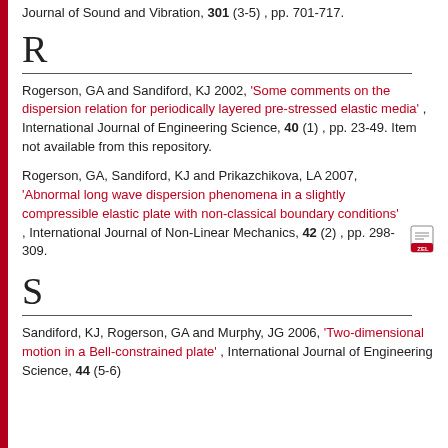Journal of Sound and Vibration, 301 (3-5) , pp. 701-717.
R
Rogerson, GA and Sandiford, KJ 2002, 'Some comments on the dispersion relation for periodically layered pre-stressed elastic media' , International Journal of Engineering Science, 40 (1) , pp. 23-49. Item not available from this repository.
Rogerson, GA, Sandiford, KJ and Prikazchikova, LA 2007, 'Abnormal long wave dispersion phenomena in a slightly compressible elastic plate with non-classical boundary conditions' , International Journal of Non-Linear Mechanics, 42 (2) , pp. 298-309.
S
Sandiford, KJ, Rogerson, GA and Murphy, JG 2006, 'Two-dimensional motion in a Bell-constrained plate' , International Journal of Engineering Science, 44 (5-6)